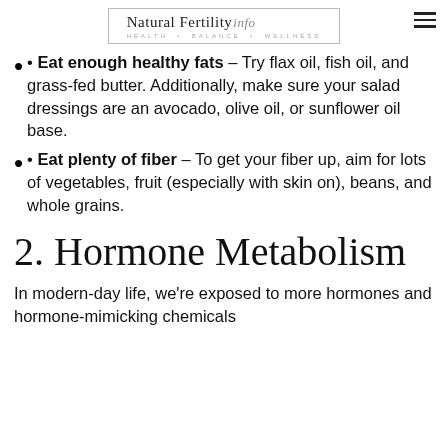Natural Fertility info — HEALTH • BALANCE • WELLNESS
• Eat enough healthy fats – Try flax oil, fish oil, and grass-fed butter. Additionally, make sure your salad dressings are an avocado, olive oil, or sunflower oil base.
• Eat plenty of fiber – To get your fiber up, aim for lots of vegetables, fruit (especially with skin on), beans, and whole grains.
2. Hormone Metabolism
In modern-day life, we're exposed to more hormones and hormone-mimicking chemicals